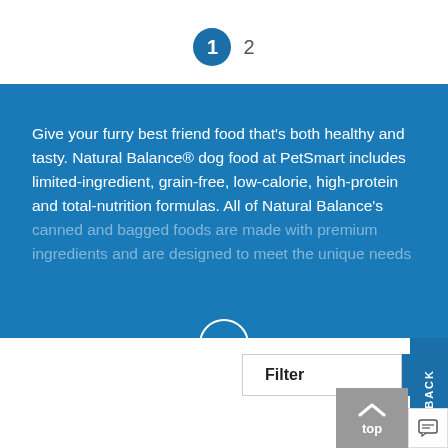1  2
Give your furry best friend food that's both healthy and tasty. Natural Balance® dog food at PetSmart includes limited-ingredient, grain-free, low-calorie, high-protein and total-nutrition formulas. All of Natural Balance's canned and bagged foods are made with premium ingredients and are designed to meet the unique needs
Filter
top
FEEDBACK